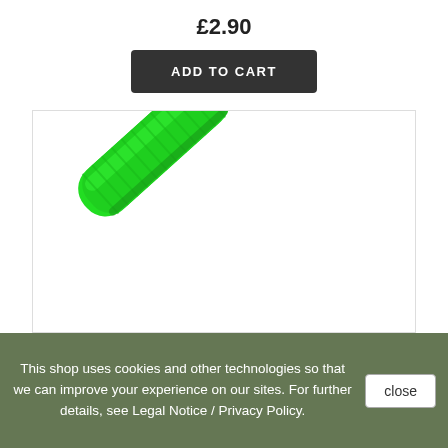£2.90
ADD TO CART
[Figure (photo): A bright green cricket bat grip or handle wrap, oriented diagonally from lower-left to upper-right, with a textured ribbed surface, shown against a white background.]
This shop uses cookies and other technologies so that we can improve your experience on our sites. For further details, see Legal Notice / Privacy Policy.